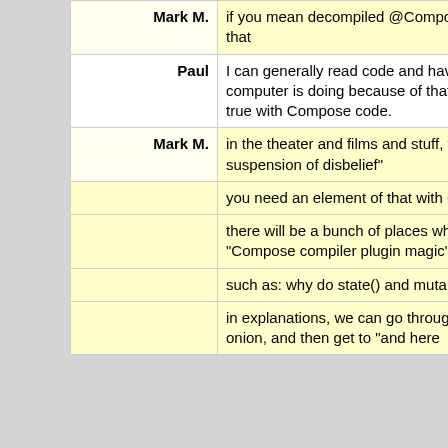| Speaker | Message |
| --- | --- |
| Mark M. | if you mean decompiled @Composable functions, I have not tried that |
| Paul | I can generally read code and have a very good idea what the computer is doing because of that code. I'm not sure this will be true with Compose code. |
| Mark M. | in the theater and films and stuff, they talk about "willing suspension of disbelief" |
|  | you need an element of that with Compose as well |
|  | there will be a bunch of places where we hand-wave around "Compose compiler plugin magic" |
|  | such as: why do state() and mutableStateOf() actually work? |
|  | in explanations, we can go through many layers of the Compose onion, and then get to "and here |